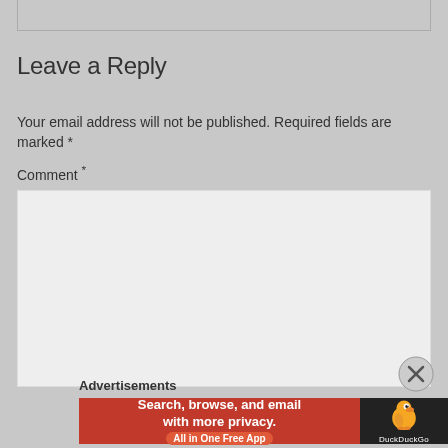Leave a Reply
Your email address will not be published. Required fields are marked *
Comment *
[Figure (screenshot): Empty comment text area input box with light gray background]
Advertisements
[Figure (illustration): DuckDuckGo advertisement banner: orange background with text 'Search, browse, and email with more privacy. All in One Free App' and DuckDuckGo logo on dark background]